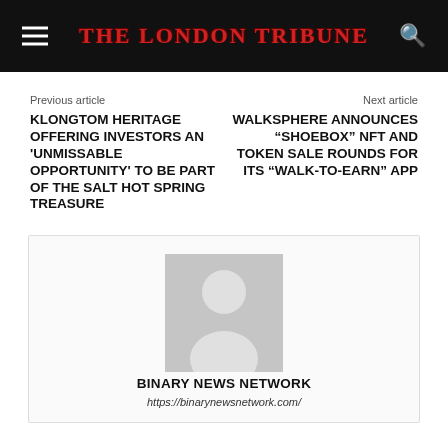The London Tribune
Previous article
KLONGTOM HERITAGE OFFERING INVESTORS AN 'UNMISSABLE OPPORTUNITY' TO BE PART OF THE SALT HOT SPRING TREASURE
Next article
WALKSPHERE ANNOUNCES "SHOEBOX" NFT AND TOKEN SALE ROUNDS FOR ITS "WALK-TO-EARN" APP
[Figure (illustration): Generic user avatar placeholder image - grey silhouette of a person on grey background]
BINARY NEWS NETWORK
https://binarynewsnetwork.com/